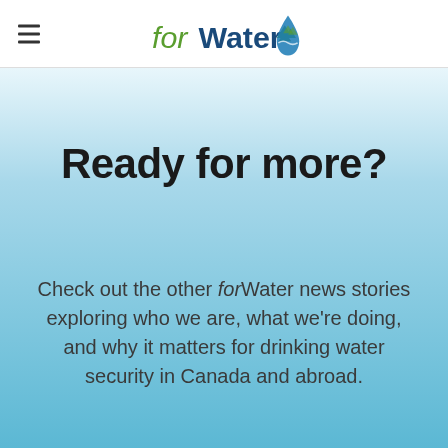forWater
Ready for more?
Check out the other forWater news stories exploring who we are, what we're doing, and why it matters for drinking water security in Canada and abroad.